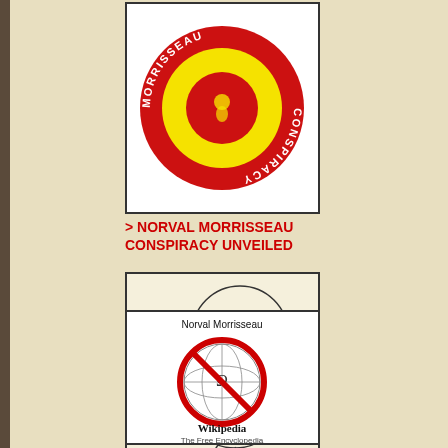[Figure (logo): Morrisseau Conspiracy circular logo with red outer ring containing white text 'MORRISSEAU CONSPIRACY', yellow middle ring, and red center circle with small figure]
> NORVAL MORRISSEAU CONSPIRACY UNVEILED
[Figure (illustration): Sight Map illustration showing two circular forms with colorful bird-like figures and text 'SIGHT MAP' vertically and horizontally]
[Figure (logo): Norval Morrisseau text with Wikipedia globe logo crossed out by red prohibition circle, and 'WIKIPEDIA The Free Encyclopedia' text below]